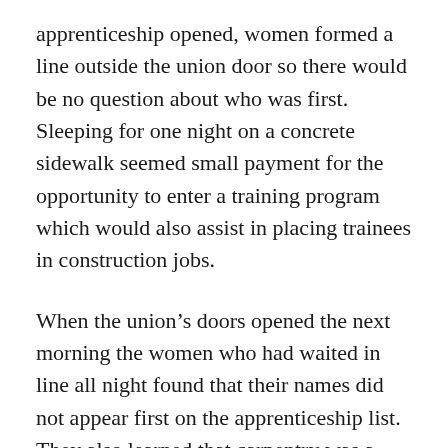apprenticeship opened, women formed a line outside the union door so there would be no question about who was first. Sleeping for one night on a concrete sidewalk seemed small payment for the opportunity to enter a training program which would also assist in placing trainees in construction jobs.
When the union's doors opened the next morning the women who had waited in line all night found that their names did not appear first on the apprenticeship list. They also learned that carpentry was a “hunting license trade,” meaning that the apprentice must first find a contractor willing to hire him before he can be indentured into the apprenticeship.